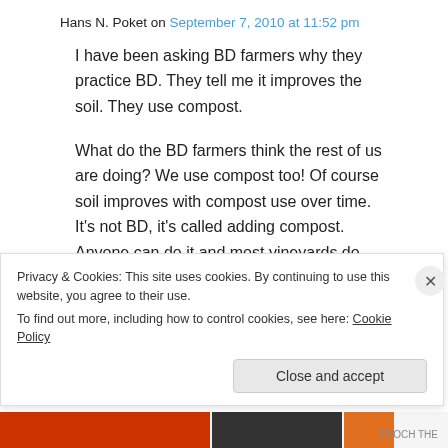Hans N. Poket on September 7, 2010 at 11:52 pm
I have been asking BD farmers why they practice BD. They tell me it improves the soil. They use compost.

What do the BD farmers think the rest of us are doing? We use compost too! Of course soil improves with compost use over time. It's not BD, it's called adding compost. Anyone can do it and most vineyards do, and have done so since the beginning of agriculture.
Privacy & Cookies: This site uses cookies. By continuing to use this website, you agree to their use.
To find out more, including how to control cookies, see here: Cookie Policy
Close and accept